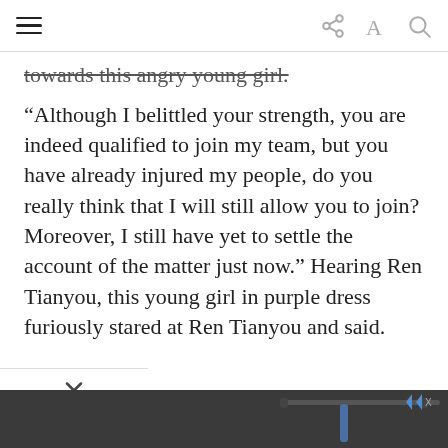[hamburger menu] [share icon] [font size icon] [search icon]
towards this angry young girl.
“Although I belittled your strength, you are indeed qualified to join my team, but you have already injured my people, do you really think that I will still allow you to join? Moreover, I still have yet to settle the account of the matter just now.” Hearing Ren Tianyou, this young girl in purple dress furiously stared at Ren Tianyou and said.
[Figure (screenshot): Advertisement banner for Helbiz scooter app showing 'Download Helbiz and ride' text over a dark background with scooter handlebar image.]